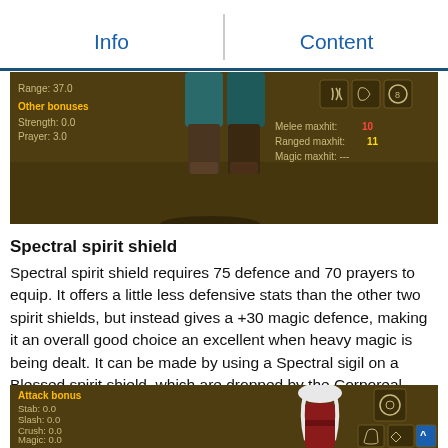Info    Content
[Figure (screenshot): Game UI screenshot showing character lower body with boots, attack bonuses panel showing Range: 37.0, Other bonuses: Strength: 0.0, Prayer: 3.0, icons for equipment slots, Melee maxhit: 10, Ranged maxhit: 11, Magic maxhit: ---]
Spectral spirit shield
Spectral spirit shield requires 75 defence and 70 prayers to equip. It offers a little less defensive stats than the other two spirit shields, but instead gives a +30 magic defence, making it an overall good choice an excellent when heavy magic is being dealt. It can be made by using a Spectral sigil on a Blessed spirit shield, which are dropped by the Corporeal beast. It is tradeable.
[Figure (screenshot): Game UI screenshot showing character with white hair/beard in red outfit, Attack bonus panel: Stab: 0.0, Slash: 0.0, Crush: 0.0, Magic: 0.0, Range: 0.0, with equipment slot icons on right]